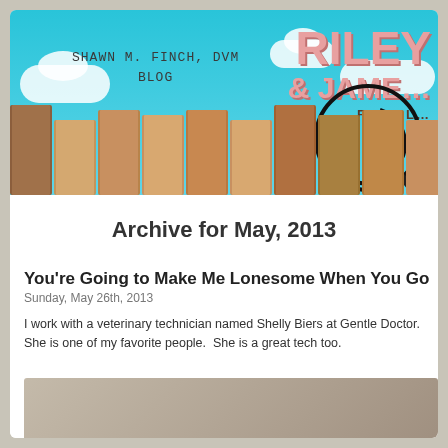[Figure (photo): Blog header image showing a blue sky with clouds, a wooden fence, text 'SHAWN M. FINCH, DVM BLOG', and partial 'RILEY & JAMES FAN CLUB' logo on the right]
Archive for May, 2013
You're Going to Make Me Lonesome When You Go
Sunday, May 26th, 2013
I work with a veterinary technician named Shelly Biers at Gentle Doctor.  She is one of my favorite people.  She is a great tech too.
[Figure (photo): Partial photo at bottom of page, appears to show a person with an animal]